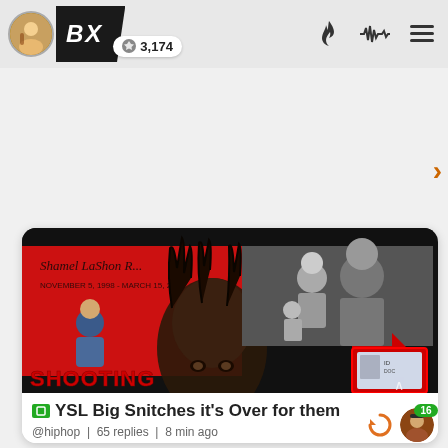BX  3,174
[Figure (screenshot): Thumbnail image with red background showing memorial text 'Shamel LaShon R... November 5, 1998 - March 15, 20...' with person on left, black-and-white photo of men on right, red arrow pointing to an ID card, and red text 'SHOOTING' at bottom, overlaid with close-up face with dreadlocks]
YSL Big Snitches it's Over for them
@hiphop | 65 replies | 8 min ago